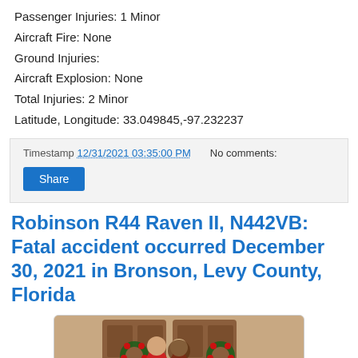Passenger Injuries: 1 Minor
Aircraft Fire: None
Ground Injuries:
Aircraft Explosion: None
Total Injuries: 2 Minor
Latitude, Longitude: 33.049845,-97.232237
Timestamp 12/31/2021 03:35:00 PM   No comments:
Share
Robinson R44 Raven II, N442VB: Fatal accident occurred December 30, 2021 in Bronson, Levy County, Florida
[Figure (photo): Family photo showing a man and woman with a child standing in front of wooden doors decorated with Christmas wreaths, all wearing red clothing.]